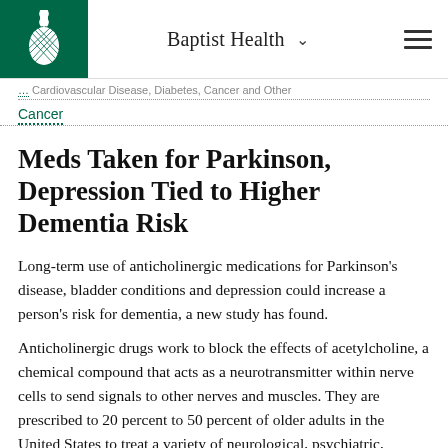Baptist Health
Cancer
Meds Taken for Parkinson, Depression Tied to Higher Dementia Risk
Long-term use of anticholinergic medications for Parkinson's disease, bladder conditions and depression could increase a person's risk for dementia, a new study has found.
Anticholinergic drugs work to block the effects of acetylcholine, a chemical compound that acts as a neurotransmitter within nerve cells to send signals to other nerves and muscles. They are prescribed to 20 percent to 50 percent of older adults in the United States to treat a variety of neurological, psychiatric,